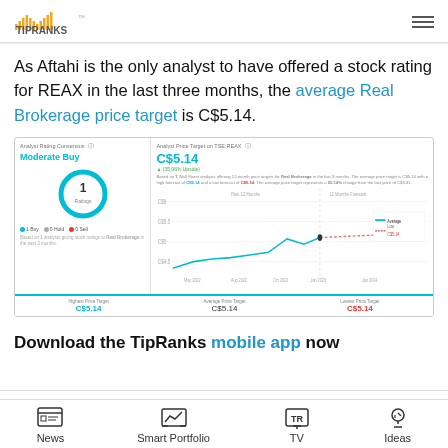TipRanks
As Aftahi is the only analyst to have offered a stock rating for REAX in the last three months, the average Real Brokerage price target is C$5.14.
[Figure (screenshot): TipRanks widget showing Analyst Rating Consensus (Moderate Buy, 1 Rating, 1 Buy 0 Hold 0 Sell) and Analyst Price Target on TSE:REAX showing C$5.14 with a line chart of price targets over 12 months. Highest Price Target C$5.14, Average Price Target C$5.14, Lowest Price Target C$5.14.]
Download the TipRanks mobile app now
News | Smart Portfolio | TV | Ideas